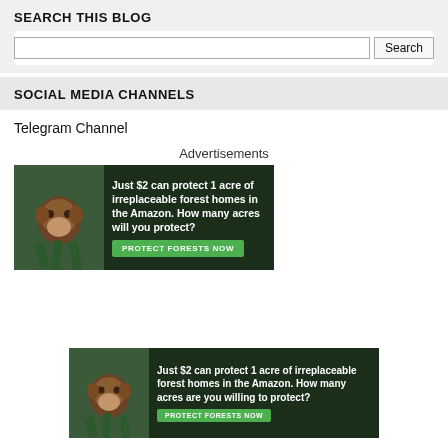SEARCH THIS BLOG
Search
SOCIAL MEDIA CHANNELS
Telegram Channel
Advertisements
[Figure (illustration): Advertisement banner: 'Just $2 can protect 1 acre of irreplaceable forest homes in the Amazon. How many acres will you protect?' with a PROTECT FORESTS NOW button, featuring a monkey in a forest background.]
[Figure (illustration): Advertisement banner: 'Just $2 can protect 1 acre of irreplaceable forest homes in the Amazon. How many acres are you willing to protect?' with a PROTECT FORESTS NOW button, featuring a monkey in a forest background.]